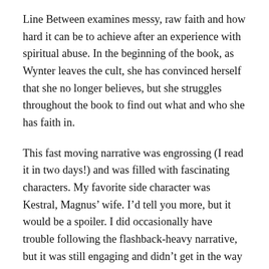Line Between examines messy, raw faith and how hard it can be to achieve after an experience with spiritual abuse. In the beginning of the book, as Wynter leaves the cult, she has convinced herself that she no longer believes, but she struggles throughout the book to find out what and who she has faith in.
This fast moving narrative was engrossing (I read it in two days!) and was filled with fascinating characters. My favorite side character was Kestral, Magnus’ wife. I’d tell you more, but it would be a spoiler. I did occasionally have trouble following the flashback-heavy narrative, but it was still engaging and didn’t get in the way too much. The only thing that I really disliked was the fade to black scene (see Heat, below).
Heat: there is a minor romantic subplot, and there is a fade